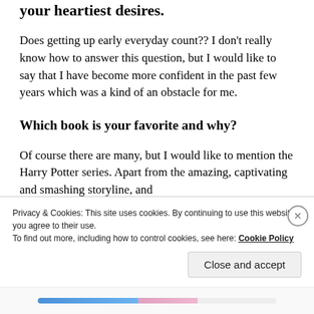your heartiest desires.
Does getting up early everyday count?? I don't really know how to answer this question, but I would like to say that I have become more confident in the past few years which was a kind of an obstacle for me.
Which book is your favorite and why?
Of course there are many, but I would like to mention the Harry Potter series. Apart from the amazing, captivating and smashing storyline, and
Privacy & Cookies: This site uses cookies. By continuing to use this website, you agree to their use.
To find out more, including how to control cookies, see here: Cookie Policy
Close and accept